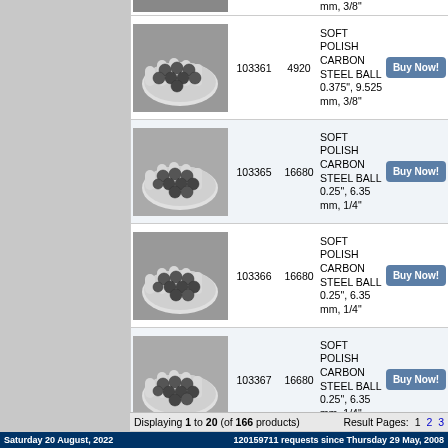| Image | Item# | Qty | Description | Action |
| --- | --- | --- | --- | --- |
| [image] |  |  | mm, 3/8" | Buy Now |
| [image] | 103361 | 4920 | SOFT POLISH CARBON STEEL BALL 0.375", 9.525 mm, 3/8" | Buy Now |
| [image] | 103365 | 16680 | SOFT POLISH CARBON STEEL BALL 0.25", 6.35 mm, 1/4" | Buy Now |
| [image] | 103366 | 16680 | SOFT POLISH CARBON STEEL BALL 0.25", 6.35 mm, 1/4" | Buy Now |
| [image] | 103367 | 16680 | SOFT POLISH CARBON STEEL BALL 0.25", 6.35 mm, 1/4" | Buy Now |
Displaying 1 to 20 (of 166 products)
Result Pages: 1 2 3
Saturday 20 August, 2022   120159711 requests since Thursday 29 May, 2008